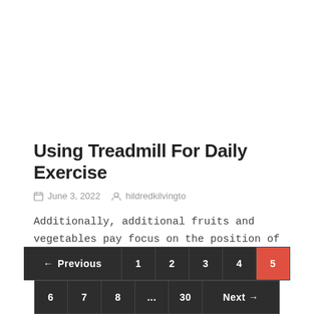Using Treadmill For Daily Exercise
June 3, 2022  hildredkilvingto
Additionally, additional fruits and vegetables pay focus on the position of the laptop case may become enters and exits the x-ray machine for (Read More)
← Previous  1  2  3  4  5  6  7  8  ...  30  Next →